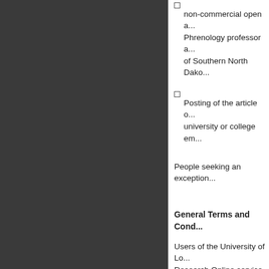non-commercial open a... Phrenology professor a... of Southern North Dako...
Posting of the article o... university or college em...
People seeking an exception...
General Terms and Cond...
Users of the University of Lo... Research Online service or s...
The failure of University of Lo... Submission Agreement does... Agreement or these policies i... give effect to the parties' inte... Agreement and these policies... constitute the entire agreeme... submission of the Article.